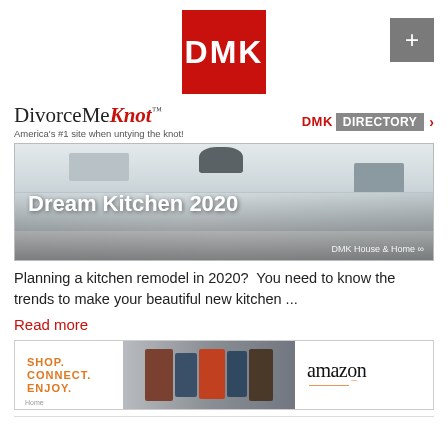[Figure (logo): DMK red square logo with white bold text]
[Figure (logo): Plus button gray square with white plus sign]
DivorceMeKnot™ — America's #1 site when untying the knot!
DMK DIRECTORY ›
[Figure (photo): Kitchen remodel banner image showing modern white kitchen with island. Title: Dream Kitchen 2020. Footer: DMK House & Home oo]
Planning a kitchen remodel in 2020?  You need to know the trends to make your beautiful new kitchen ...
Read more
[Figure (illustration): Amazon advertisement banner: SHOP. CONNECT. ENJOY. with product images and Amazon logo]